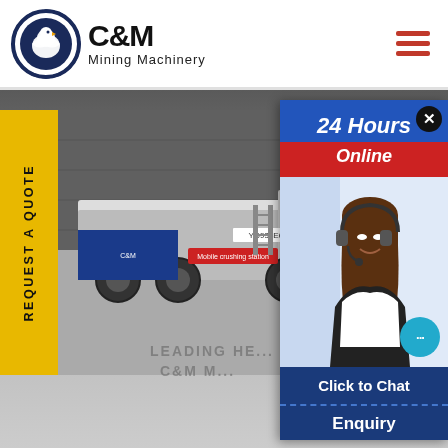[Figure (logo): C&M Mining Machinery logo with eagle in gear circle icon and bold text]
[Figure (photo): Mobile mining/crushing machinery truck parked in industrial facility]
REQUEST A QUOTE
[Figure (screenshot): 24 Hours Online chat popup with customer service representative photo, Click to Chat button, and Enquiry section]